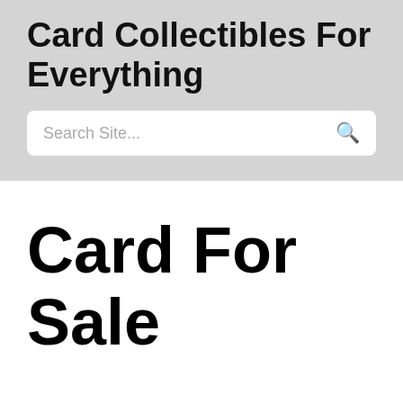Card Collectibles For Everything
Search Site...
Card For Sale